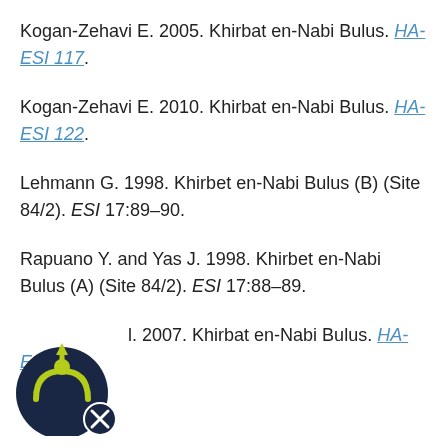Kogan-Zehavi E. 2005. Khirbat en-Nabi Bulus. HA-ESI 117.
Kogan-Zehavi E. 2010. Khirbat en-Nabi Bulus. HA-ESI 122.
Lehmann G. 1998. Khirbet en-Nabi Bulus (B) (Site 84/2). ESI 17:89–90.
Rapuano Y. and Yas J. 1998. Khirbet en-Nabi Bulus (A) (Site 84/2). ESI 17:88–89.
…l. 2007. Khirbat en-Nabi Bulus. HA-ESI 119
[Figure (logo): Circular logo badge with a figure/person icon and a small X button overlay, dark navy and yellow-green colors]